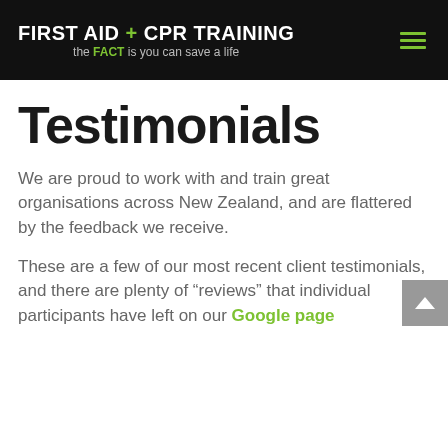FIRST AID + CPR TRAINING the FACT is you can save a life
Testimonials
We are proud to work with and train great organisations across New Zealand, and are flattered by the feedback we receive.
These are a few of our most recent client testimonials, and there are plenty of “reviews” that individual participants have left on our Google page